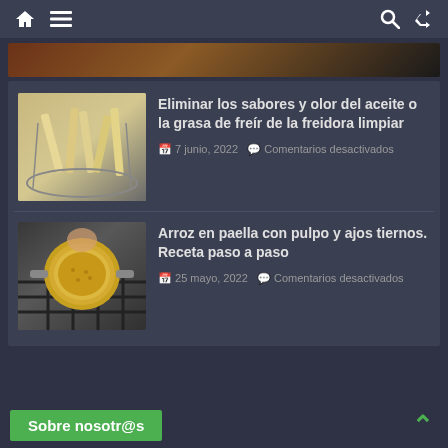Navigation bar with home, menu, search and shuffle icons
[Figure (photo): Partial view of a cutting board or food item at top]
[Figure (photo): French fries in a wire basket/colander]
Eliminar los sabores y olor del aceite o la grasa de freír de la freidora limpiar
7 junio, 2022  Comentarios desactivados
[Figure (photo): Paella pan on a gas stove with yellow rice dish]
Arroz en paella con pulpo y ajos tiernos. Receta paso a paso
25 mayo, 2022  Comentarios desactivados
Sobre nosotr@s